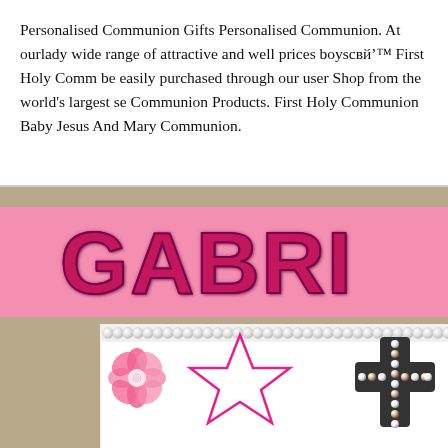Personalised Communion Gifts Personalised Communion. At ourlady wide range of attractive and well prices boysBТ™ First Holy Comm be easily purchased through our user Shop from the world's largest se Communion Products. First Holy Communion Baby Jesus And Mary Communion.
[Figure (photo): Photo of a personalised First Holy Communion gift frame. Features large hot-pink glitter letters spelling 'GABRI...' on a pink background, with a white card section below decorated with pearl/rhinestone trim, a pink flower embellishment, a star outline drawing, and a dark cross decorated with rhinestones, all set on a tan/beige background.]